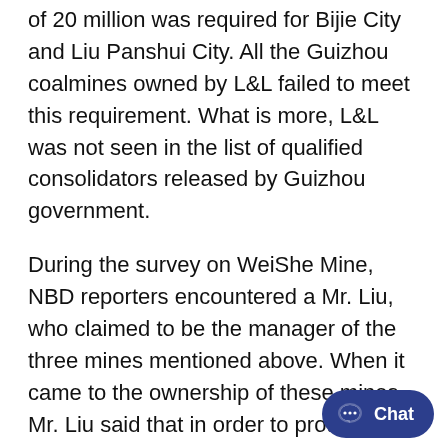of 20 million was required for Bijie City and Liu Panshui City. All the Guizhou coalmines owned by L&L failed to meet this requirement. What is more, L&L was not seen in the list of qualified consolidators released by Guizhou government.
During the survey on WeiShe Mine, NBD reporters encountered a Mr. Liu, who claimed to be the manager of the three mines mentioned above. When it came to the ownership of these mines, Mr. Liu said that in order to protect the coalmines during the coalmine consolidation in Guizhou Province, cooperation was made between L&L and Union Energy but (L&L) does not have stock share in Union Energy. Union Energy is the shareholder of the three mines mentioned above and is also responsible for the management on these